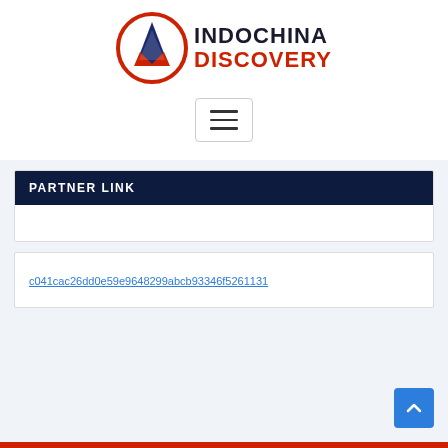[Figure (logo): Indochina Discovery logo with circular red and blue emblem and bold text 'INDOCHINA DISCOVERY']
[Figure (other): Hamburger menu button with three horizontal lines inside a bordered rectangle]
PARTNER LINK
c041cac26dd0e59e9648299abcb93346f5261131